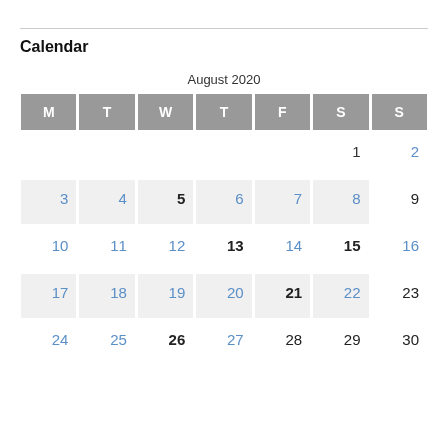Calendar
| M | T | W | T | F | S | S |
| --- | --- | --- | --- | --- | --- | --- |
|  |  |  |  |  | 1 | 2 |
| 3 | 4 | 5 | 6 | 7 | 8 | 9 |
| 10 | 11 | 12 | 13 | 14 | 15 | 16 |
| 17 | 18 | 19 | 20 | 21 | 22 | 23 |
| 24 | 25 | 26 | 27 | 28 | 29 | 30 |